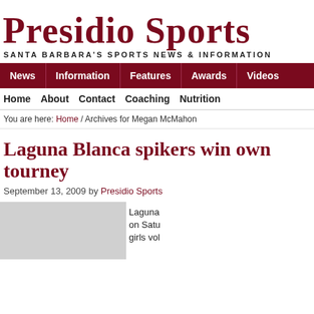Presidio Sports
SANTA BARBARA'S SPORTS NEWS & INFORMATION
News | Information | Features | Awards | Videos
Home | About | Contact | Coaching | Nutrition
You are here: Home / Archives for Megan McMahon
Laguna Blanca spikers win own tourney
September 13, 2009 by Presidio Sports
[Figure (photo): Photo placeholder, grey rectangle]
Laguna on Satu girls vol